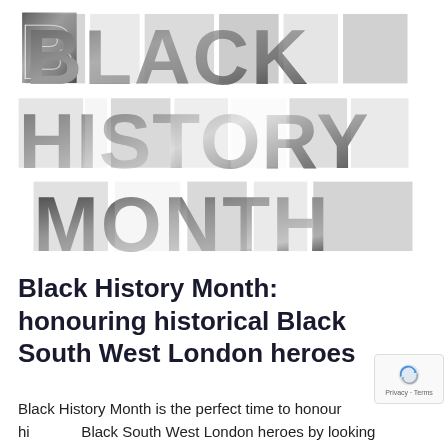[Figure (illustration): Black History Month text art where each letter is filled with black-and-white photographs of notable Black figures. Three rows: BLACK, HISTORY, MONTH in large bold letters filled with portrait photos.]
Black History Month: honouring historical Black South West London heroes
Black History Month is the perfect time to honour historical Black South West London heroes by looking back on their